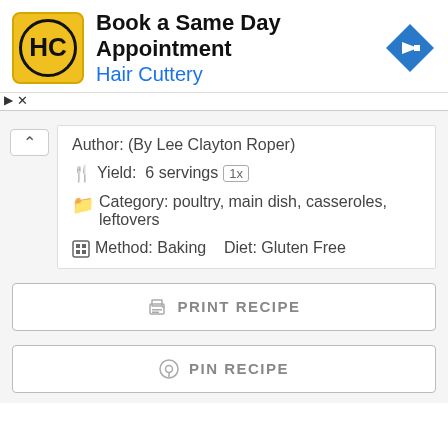[Figure (screenshot): Hair Cuttery advertisement banner with yellow HC logo, text 'Book a Same Day Appointment / Hair Cuttery', and blue diamond arrow icon.]
Author: (By Lee Clayton Roper)
Yield: 6 servings 1x
Category: poultry, main dish, casseroles, leftovers
Method: Baking   Diet: Gluten Free
PRINT RECIPE
PIN RECIPE